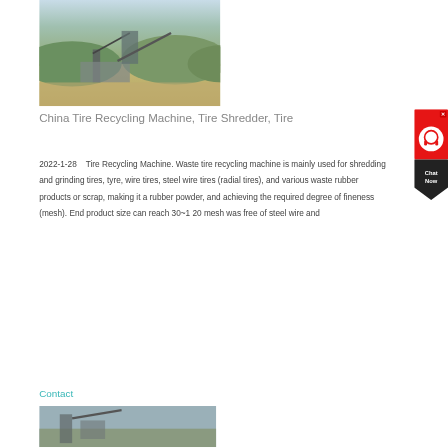[Figure (photo): Outdoor industrial site showing tire recycling or crushing machinery with conveyor belts, surrounded by hills and open land]
China Tire Recycling Machine, Tire Shredder, Tire
2022-1-28    Tire Recycling Machine. Waste tire recycling machine is mainly used for shredding and grinding tires, tyre, wire tires, steel wire tires (radial tires), and various waste rubber products or scrap, making it a rubber powder, and achieving the required degree of fineness (mesh). End product size can reach 30~1 20 mesh was free of steel wire and
Contact
[Figure (photo): Another outdoor industrial machinery photo at the bottom of the page]